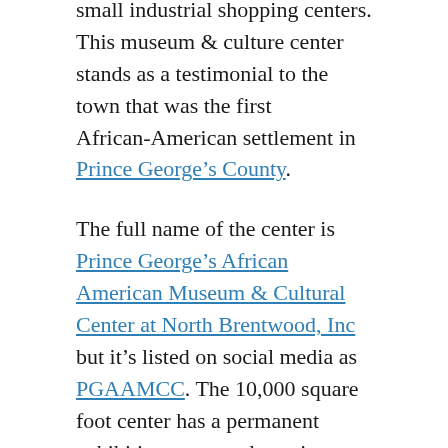small industrial shopping centers. This museum & culture center stands as a testimonial to the town that was the first African-American settlement in Prince George's County.
The full name of the center is Prince George's African American Museum & Cultural Center at North Brentwood, Inc but it's listed on social media as PGAAMCC. The 10,000 square foot center has a permanent exhibition room and rotating exhibitions around the space and along hallways. Quotes from art students are positioned throughout. A very friendly staff is available to answer questions and give you information.